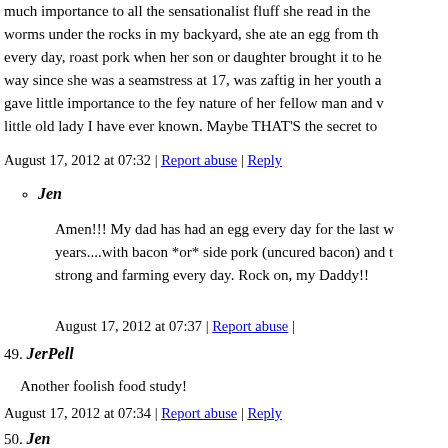much importance to all the sensationalist fluff she read in the worms under the rocks in my backyard, she ate an egg from th every day, roast pork when her son or daughter brought it to he way since she was a seamstress at 17, was zaftig in her youth a gave little importance to the fey nature of her fellow man and v little old lady I have ever known. Maybe THAT'S the secret to
August 17, 2012 at 07:32 | Report abuse | Reply
Jen
Amen!!! My dad has had an egg every day for the last w years....with bacon *or* side pork (uncured bacon) and t strong and farming every day. Rock on, my Daddy!!
August 17, 2012 at 07:37 | Report abuse |
49. JerPell
Another foolish food study!
August 17, 2012 at 07:34 | Report abuse | Reply
50. Jen
And did they eat the yolk WITH the white in order to take the here, which effectively negates the effects of the cholesterol in blame the egg yolk and move on. I'm with most other folks her egg right next to your bacon and add some cheese if you like.